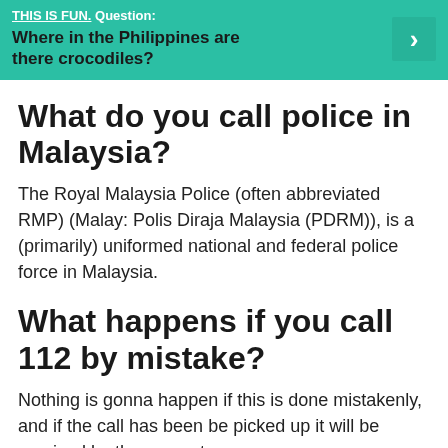[Figure (infographic): Teal/green banner with 'THIS IS FUN. Question:' in white bold text, followed by bold question 'Where in the Philippines are there crocodiles?' in dark text, and a right-arrow button on the right side]
What do you call police in Malaysia?
The Royal Malaysia Police (often abbreviated RMP) (Malay: Polis Diraja Malaysia (PDRM)), is a (primarily) uniformed national and federal police force in Malaysia.
What happens if you call 112 by mistake?
Nothing is gonna happen if this is done mistakenly, and if the call has been be picked up it will be received by the nearest